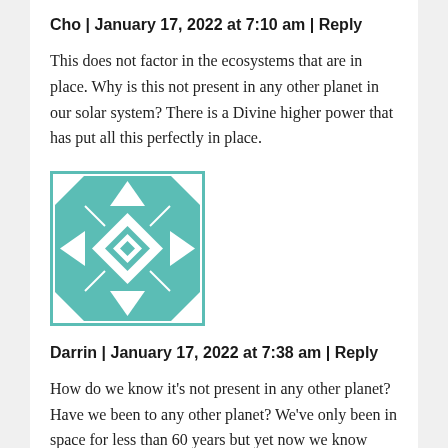Cho | January 17, 2022 at 7:10 am | Reply
This does not factor in the ecosystems that are in place. Why is this not present in any other planet in our solar system? There is a Divine higher power that has put all this perfectly in place.
[Figure (illustration): Teal and white geometric quilt-pattern avatar icon]
Darrin | January 17, 2022 at 7:38 am | Reply
How do we know it’s not present in any other planet? Have we been to any other planet? We’ve only been in space for less than 60 years but yet now we know everything???